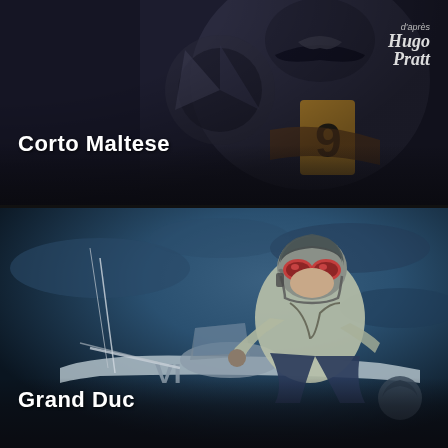[Figure (illustration): Top panel showing a Corto Maltese comic book cover art with dark background, stylized comic illustration of a character with a number 9 visible, dark blue and black tones]
Corto Maltese
d'après Hugo Pratt (signature)
[Figure (illustration): Bottom panel showing Grand Duc comic book cover art with a pilot in a biplane cockpit wearing goggles and a flight suit, set against a dark blue cloudy sky, with 'VI' visible on the aircraft fuselage]
Grand Duc